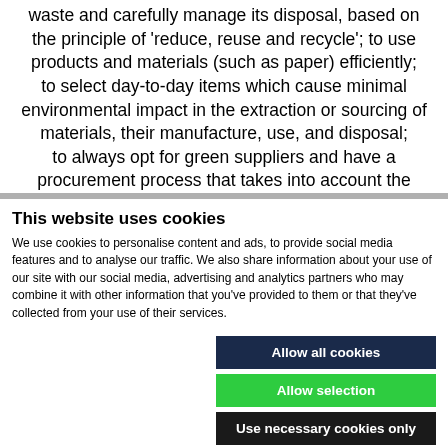waste and carefully manage its disposal, based on the principle of 'reduce, reuse and recycle'; to use products and materials (such as paper) efficiently; to select day-to-day items which cause minimal environmental impact in the extraction or sourcing of materials, their manufacture, use, and disposal; to always opt for green suppliers and have a procurement process that takes into account the
This website uses cookies
We use cookies to personalise content and ads, to provide social media features and to analyse our traffic. We also share information about your use of our site with our social media, advertising and analytics partners who may combine it with other information that you've provided to them or that they've collected from your use of their services.
Allow all cookies
Allow selection
Use necessary cookies only
Necessary  Preferences  Statistics  Marketing  Show details